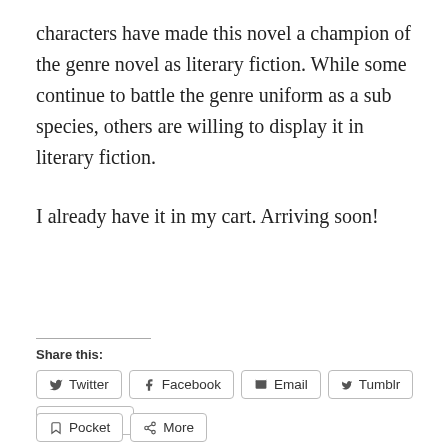characters have made this novel a champion of the genre novel as literary fiction. While some continue to battle the genre uniform as a sub species, others are willing to display it in literary fiction.

I already have it in my cart. Arriving soon!
Share this:
Twitter | Facebook | Email | Tumblr | Pinterest | Pocket | More